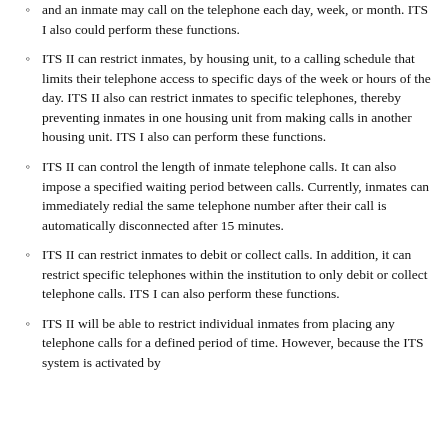and an inmate may call on the telephone each day, week, or month. ITS I also could perform these functions.
ITS II can restrict inmates, by housing unit, to a calling schedule that limits their telephone access to specific days of the week or hours of the day. ITS II also can restrict inmates to specific telephones, thereby preventing inmates in one housing unit from making calls in another housing unit. ITS I also can perform these functions.
ITS II can control the length of inmate telephone calls. It can also impose a specified waiting period between calls. Currently, inmates can immediately redial the same telephone number after their call is automatically disconnected after 15 minutes.
ITS II can restrict inmates to debit or collect calls. In addition, it can restrict specific telephones within the institution to only debit or collect telephone calls. ITS I can also perform these functions.
ITS II will be able to restrict individual inmates from placing any telephone calls for a defined period of time. However, because the ITS system is activated by